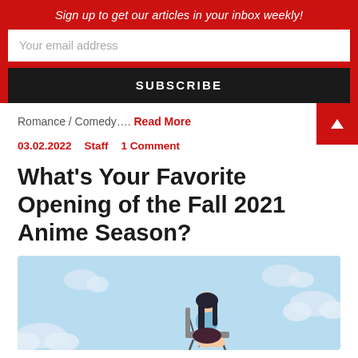Sign up to get our articles in your inbox weekly!
Your email address
SUBSCRIBE
Romance / Comedy…. Read More
03.02.2022   Staff   1 Comment
What's Your Favorite Opening of the Fall 2021 Anime Season?
[Figure (illustration): Anime-style illustration of a girl with long dark hair sitting on a chair against a light blue sky with white clouds]